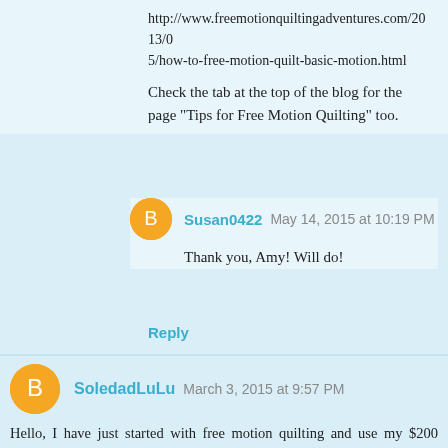http://www.freemotionquiltingadventures.com/2013/05/how-to-free-motion-quilt-basic-motion.html
Check the tab at the top of the blog for the page "Tips for Free Motion Quilting" too.
Susan0422  May 14, 2015 at 10:19 PM
Thank you, Amy! Will do!
Reply
SoledadLuLu  March 3, 2015 at 9:57 PM
Hello, I have just started with free motion quilting and use my $200 Janome and was not completely happy with the tension....always got the eye lashes on the loops. I managed to find a way to FM quilt on an old Kenmore from the 70's (super high shank) by just dropping the Fred dog and releasing the pressure on the foot so the fabric glides through the foot.It works